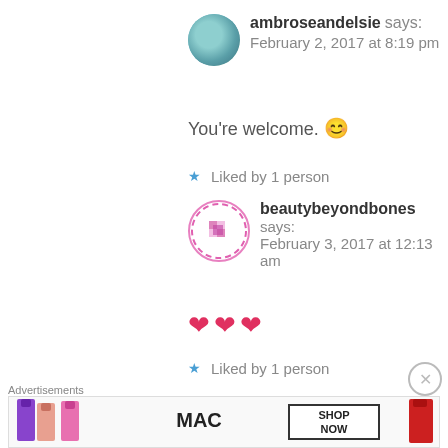ambroseandelsie says: February 2, 2017 at 8:19 pm
You're welcome. 😊
★ Liked by 1 person
beautybeyondbones says: February 3, 2017 at 12:13 am
❤❤❤
★ Liked by 1 person
[Figure (photo): MAC cosmetics advertisement showing colorful lipsticks with SHOP NOW button]
Advertisements